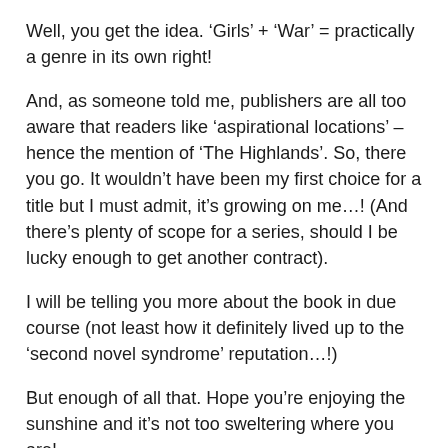Well, you get the idea. ‘Girls’ + ‘War’ = practically a genre in its own right!
And, as someone told me, publishers are all too aware that readers like ‘aspirational locations’ – hence the mention of ‘The Highlands’. So, there you go. It wouldn’t have been my first choice for a title but I must admit, it’s growing on me…! (And there’s plenty of scope for a series, should I be lucky enough to get another contract).
I will be telling you more about the book in due course (not least how it definitely lived up to the ‘second novel syndrome’ reputation…!)
But enough of all that. Hope you’re enjoying the sunshine and it’s not too sweltering where you are!
PS: And just so this post isn’t all about ME, ME, ME, those